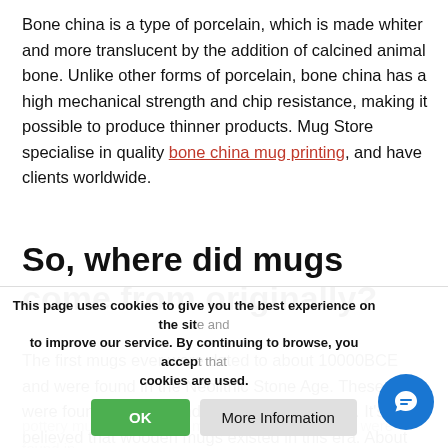Bone china is a type of porcelain, which is made whiter and more translucent by the addition of calcined animal bone. Unlike other forms of porcelain, bone china has a high mechanical strength and chip resistance, making it possible to produce thinner products. Mug Store specialise in quality bone china mug printing, and have clients worldwide.
So, where did mugs come from originally?
The first mugs ever were dated to about 10000BCE and were found in the Neolithic Stone Age. These cups were found in China and were made of bones. It's also believed that wooden mugs existed in this era. About 2500 to 2000 BCE, the Late Neolithic Period, the first pottery mugs which were made on a pottery wheel were found in China...
This page uses cookies to give you the best experience on the site and to improve our service. By continuing to browse, you accept that cookies are used.